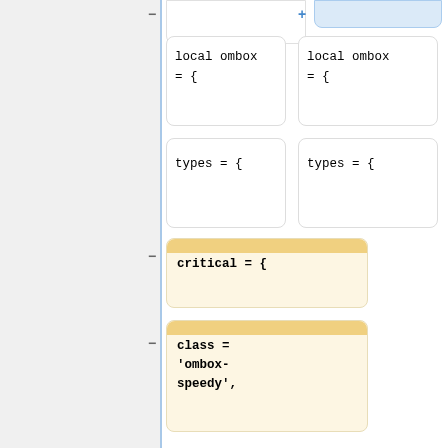[Figure (screenshot): Code diff view showing two columns of code blocks. Left column shows removed code (with minus signs) and right column shows added/changed code (with plus signs). The code is Lua-like syntax for an ombox template definition. Yellow highlighted blocks indicate changed lines. Content includes: 'local ombox = {', 'types = {', 'critical = {', 'class = ombox-speedy,', 'image = Imbox speedy deletion.png']